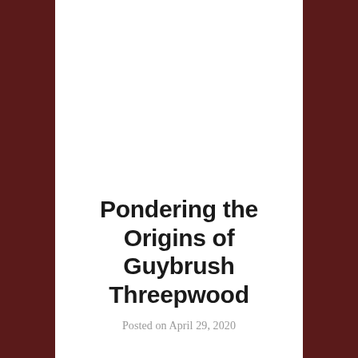Pondering the Origins of Guybrush Threepwood
Posted on April 29, 2020